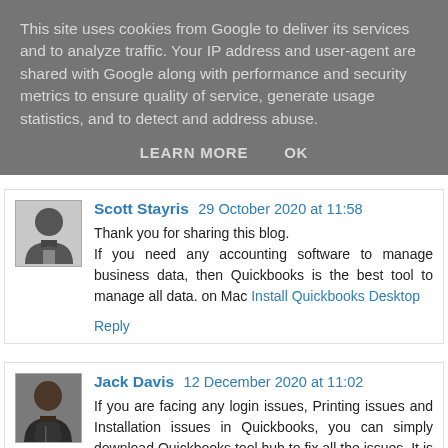This site uses cookies from Google to deliver its services and to analyze traffic. Your IP address and user-agent are shared with Google along with performance and security metrics to ensure quality of service, generate usage statistics, and to detect and address abuse.
LEARN MORE   OK
Scott Stayris  29 October 2020 at 11:58
Thank you for sharing this blog.
If you need any accounting software to manage business data, then Quickbooks is the best tool to manage all data. on Mac Install Quickbooks Desktop
Reply
Jack Davis  12 December 2020 at 11:02
If you are facing any login issues, Printing issues and Installation issues in Quickbooks, you can simply download Quickbooks tool hub to fix all the issues. It is a combination